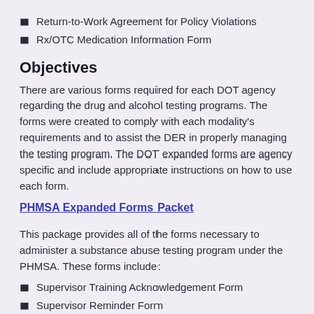Return-to-Work Agreement for Policy Violations
Rx/OTC Medication Information Form
Objectives
There are various forms required for each DOT agency regarding the drug and alcohol testing programs. The forms were created to comply with each modality's requirements and to assist the DER in properly managing the testing program. The DOT expanded forms are agency specific and include appropriate instructions on how to use each form.
PHMSA Expanded Forms Packet
This package provides all of the forms necessary to administer a substance abuse testing program under the PHMSA. These forms include:
Supervisor Training Acknowledgement Form
Supervisor Reminder Form